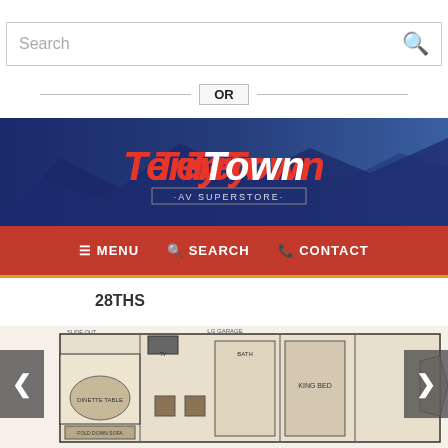[Figure (screenshot): Search bar with placeholder text 'Search' and a magnifying glass icon on the right]
OR
[Figure (logo): TerryTown RV Superstore banner logo on dark blue mountain background]
[Figure (screenshot): Navigation bar with MENU, SEARCH, and CONTACT items on red background]
28THS
[Figure (engineering-diagram): RV floor plan diagram for 28THS model showing room layout including dinette table, fold-down sofa, bedroom, bath, and other areas. Left and right navigation arrows visible.]